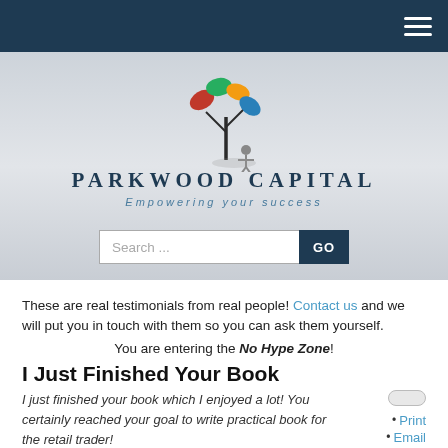[Figure (logo): Parkwood Capital logo: colorful tree with leaves in red, green, yellow, blue, and a stylized person figure. Text: PARKWOOD CAPITAL Empowering your success]
These are real testimonials from real people! Contact us and we will put you in touch with them so you can ask them yourself.
You are entering the No Hype Zone!
I Just Finished Your Book
I just finished your book which I enjoyed a lot! You certainly reached your goal to write practical book for the retail trader!
AV
Chicago, IL
Print
Email
I'm Having a Pretty Good Month